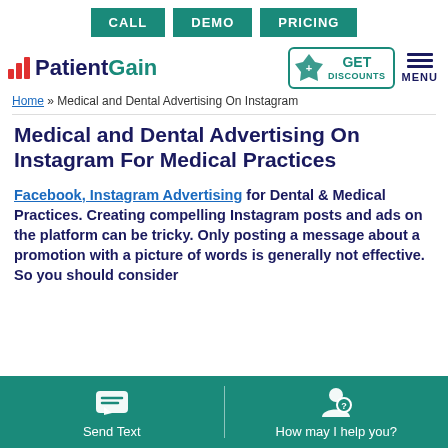CALL | DEMO | PRICING
[Figure (logo): PatientGain logo with red bar chart icon and teal GET DISCOUNTS badge, plus teal MENU hamburger icon]
Home » Medical and Dental Advertising On Instagram
Medical and Dental Advertising On Instagram For Medical Practices
Facebook, Instagram Advertising for Dental & Medical Practices. Creating compelling Instagram posts and ads on the platform can be tricky. Only posting a message about a promotion with a picture of words is generally not effective. So you should consider
Send Text | How may I help you?